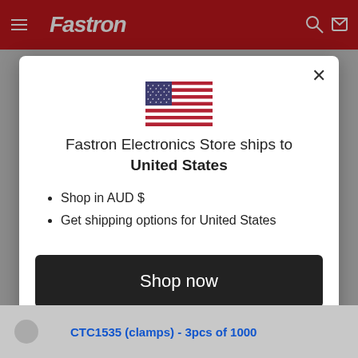[Figure (screenshot): Fastron Electronics Store website red header bar with hamburger menu and Fastron logo in white italic text]
[Figure (illustration): US flag icon centered in modal dialog]
Fastron Electronics Store ships to United States
Shop in AUD $
Get shipping options for United States
Shop now
Change shipping country
CTC1535 (clamps) - 3pcs of 1000